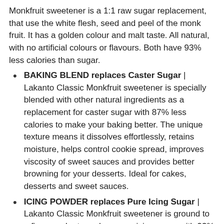Monkfruit sweetener is a 1:1 raw sugar replacement, that use the white flesh, seed and peel of the monk fruit. It has a golden colour and malt taste. All natural, with no artificial colours or flavours. Both have 93% less calories than sugar.
BAKING BLEND replaces Caster Sugar | Lakanto Classic Monkfruit sweetener is specially blended with other natural ingredients as a replacement for caster sugar with 87% less calories to make your baking better. The unique texture means it dissolves effortlessly, retains moisture, helps control cookie spread, improves viscosity of sweet sauces and provides better browning for your desserts. Ideal for cakes, desserts and sweet sauces.
ICING POWDER replaces Pure Icing Sugar | Lakanto Classic Monkfruit sweetener is ground to a fine powder to replace pure icing sugar with 93% less calories. Ideal to use with fondant, glazes, royal icing, butter cream and decoration. It dissolves quickly...